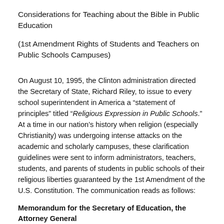Considerations for Teaching about the Bible in Public Education
(1st Amendment Rights of Students and Teachers on Public Schools Campuses)
On August 10, 1995, the Clinton administration directed the Secretary of State, Richard Riley, to issue to every school superintendent in America a “statement of principles” titled “Religious Expression in Public Schools.” At a time in our nation’s history when religion (especially Christianity) was undergoing intense attacks on the academic and scholarly campuses, these clarification guidelines were sent to inform administrators, teachers, students, and parents of students in public schools of their religious liberties guaranteed by the 1st Amendment of the U.S. Constitution. The communication reads as follows:
Memorandum for the Secretary of Education, the Attorney General